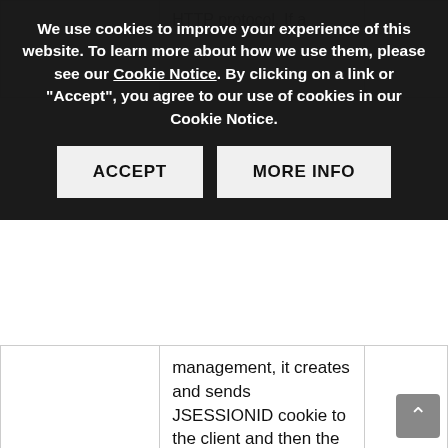We use cookies to improve your experience of this website. To learn more about how we use them, please see our Cookie Notice. By clicking on a link or "Accept", you agree to our use of cookies in our Cookie Notice.
ACCEPT | MORE INFO
| Name | Description | Type |
| --- | --- | --- |
| JSESSIONID | ...HTTP protocol. If a ...management, it creates and sends JSESSIONID cookie to the client and then the client sends it back to the server in subsequent HTTP requests. JSESSIONID is a platform session cookie and is used by sites with JavaServer Pages (JSP). The cookie is used to maintain an... | Sessio... |